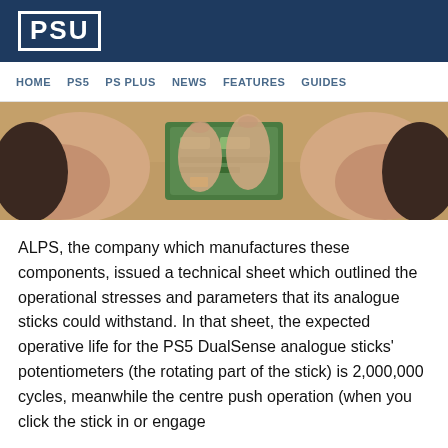PSU
HOME  PS5  PS PLUS  NEWS  FEATURES  GUIDES
[Figure (photo): Close-up of hands holding and examining a small green circuit board (analogue stick potentiometer component), with dark controller parts visible on both sides, on a wooden surface background.]
ALPS, the company which manufactures these components, issued a technical sheet which outlined the operational stresses and parameters that its analogue sticks could withstand. In that sheet, the expected operative life for the PS5 DualSense analogue sticks' potentiometers (the rotating part of the stick) is 2,000,000 cycles, meanwhile the centre push operation (when you click the stick in or engage